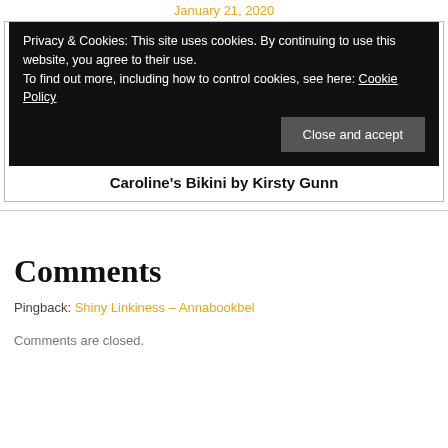January 21, 2020
Privacy & Cookies: This site uses cookies. By continuing to use this website, you agree to their use.
To find out more, including how to control cookies, see here: Cookie Policy
Close and accept
Caroline's Bikini by Kirsty Gunn
Comments
Pingback: Shiny Linkiness – Annabookbel
Comments are closed.